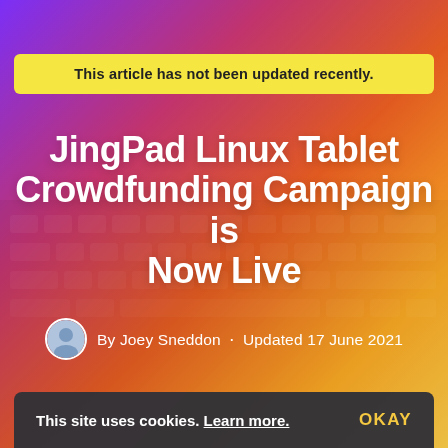[Figure (photo): Hero background image of a laptop keyboard with colorful gradient overlay in purple, red, orange, and yellow tones]
This article has not been updated recently.
JingPad Linux Tablet Crowdfunding Campaign is Now Live
By Joey Sneddon · Updated 17 June 2021
This site uses cookies. Learn more. OKAY